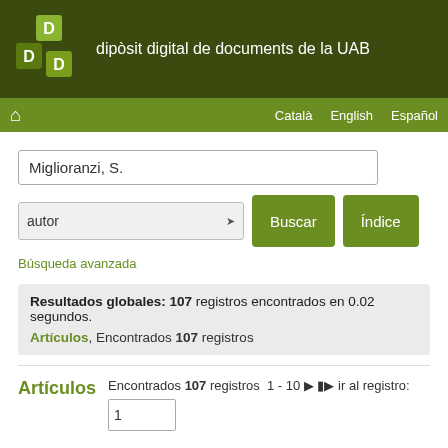[Figure (logo): DDD stacked cubes logo in green shades]
dipòsit digital de documents de la UAB
Català   English   Español
Miglioranzi, S.
autor   Buscar   Índice
Búsqueda avanzada
Resultados globales: 107 registros encontrados en 0.02 segundos.
Artículos, Encontrados 107 registros
Artículos
Encontrados 107 registros  1 - 10 ▶ ⏭ ir al registro: 1